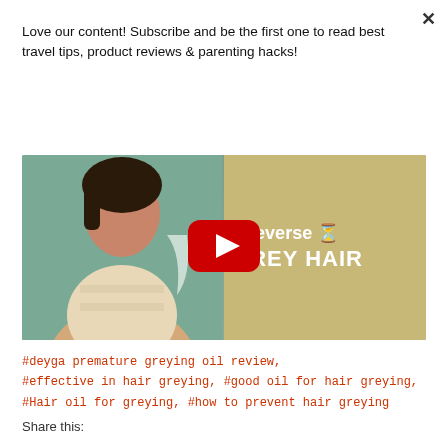Love our content! Subscribe and be the first one to read best travel tips, product reviews & parenting hacks!
Subscribe to our newsletter
[Figure (screenshot): YouTube video thumbnail showing a woman and text 'how to reverse GREY HAIR' with a YouTube play button overlay]
#deyga premature greying oil review, #effective in hair greying, #good oil for hair greying, #Hair oil for greying, #how to prevent hair greying
Share this: